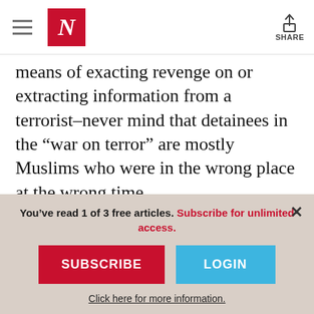N  SHARE
means of exacting revenge on or extracting information from a terrorist–never mind that detainees in the “war on terror” are mostly Muslims who were in the wrong place at the wrong time.
“Without music, life would be an error,” writes Nietzsche, but for Muslim detainees, it’s the other way around. Mind-numbing
You’ve read 1 of 3 free articles. Subscribe for unlimited access.
SUBSCRIBE
LOGIN
Click here for more information.